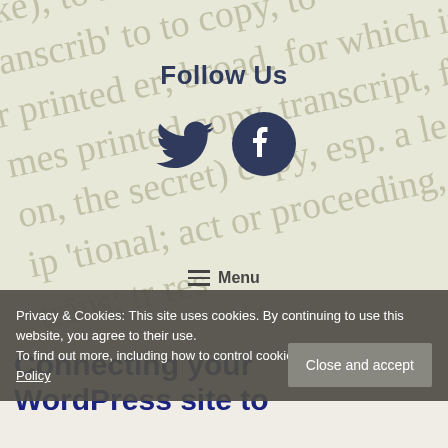[Figure (illustration): Background with diagonal watermark-style text about transcription and related words on a light greenish-beige background]
Follow Us
[Figure (logo): Twitter bird icon and Facebook circle icon in dark navy blue]
Privacy & Cookies: This site uses cookies. By continuing to use this website, you agree to their use.
To find out more, including how to control cookies, see here: Privacy Policy
Connecting your WordPress site to